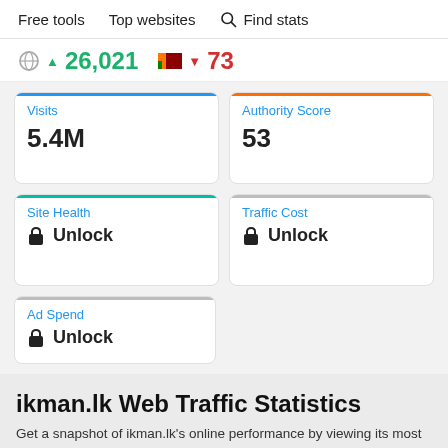Free tools   Top websites   Find stats
▲ 26,021   🇱🇰 ▼ 73
Visits
5.4M
Authority Score
53
Site Health
🔒 Unlock
Traffic Cost
🔒 Unlock
Ad Spend
🔒 Unlock
ikman.lk Web Traffic Statistics
Get a snapshot of ikman.lk's online performance by viewing its most critical traffic metrics